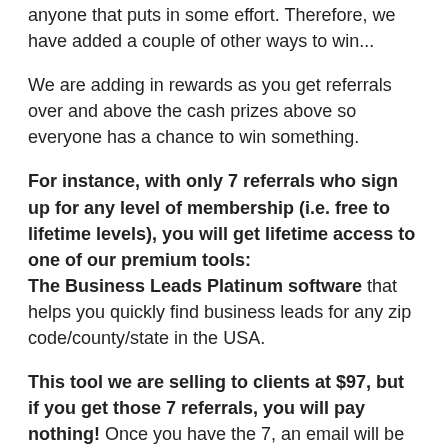anyone that puts in some effort. Therefore, we have added a couple of other ways to win...
We are adding in rewards as you get referrals over and above the cash prizes above so everyone has a chance to win something.
For instance, with only 7 referrals who sign up for any level of membership (i.e. free to lifetime levels), you will get lifetime access to one of our premium tools: The Business Leads Platinum software that helps you quickly find business leads for any zip code/county/state in the USA.
This tool we are selling to clients at $97, but if you get those 7 referrals, you will pay nothing! Once you have the 7, an email will be automatically sent to you with instructions on how to redeem your reward through our support team. This is not the only prize you can win either there are many more to secure during the period!